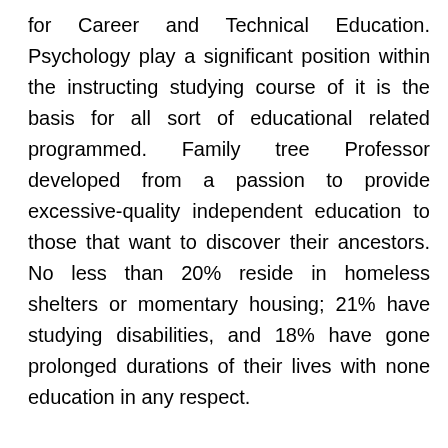for Career and Technical Education. Psychology play a significant position within the instructing studying course of it is the basis for all sort of educational related programmed. Family tree Professor developed from a passion to provide excessive-quality independent education to those that want to discover their ancestors. No less than 20% reside in homeless shelters or momentary housing; 21% have studying disabilities, and 18% have gone prolonged durations of their lives with none education in any respect.